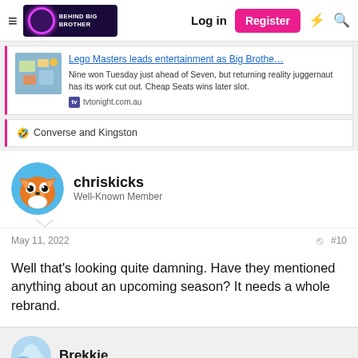Behind Big Brother | Log in | Register
Lego Masters leads entertainment as Big Brothe…
Nine won Tuesday just ahead of Seven, but returning reality juggernaut has its work cut out. Cheap Seats wins later slot.
tvtonight.com.au
🤣 Converse and Kingston
chriskicks
Well-Known Member
May 11, 2022
#10
Well that's looking quite damning. Have they mentioned anything about an upcoming season? It needs a whole rebrand.
Brekkie